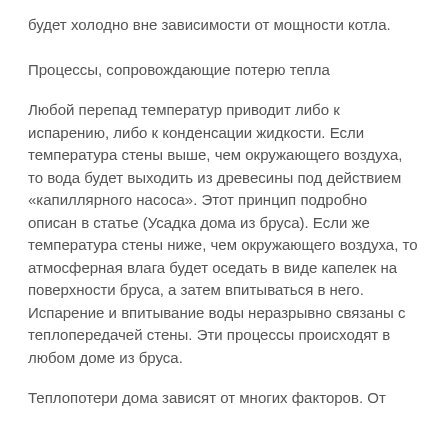будет холодно вне зависимости от мощности котла.
Процессы, сопровождающие потерю тепла
Любой перепад температур приводит либо к испарению, либо к конденсации жидкости. Если температура стены выше, чем окружающего воздуха, то вода будет выходить из древесины под действием «капиллярного насоса». Этот принцип подробно описан в статье (Усадка дома из бруса). Если же температура стены ниже, чем окружающего воздуха, то атмосферная влага будет оседать в виде капелек на поверхности бруса, а затем впитываться в него. Испарение и впитывание воды неразрывно связаны с теплопередачей стены. Эти процессы происходят в любом доме из бруса.
Теплопотери дома зависят от многих факторов. От